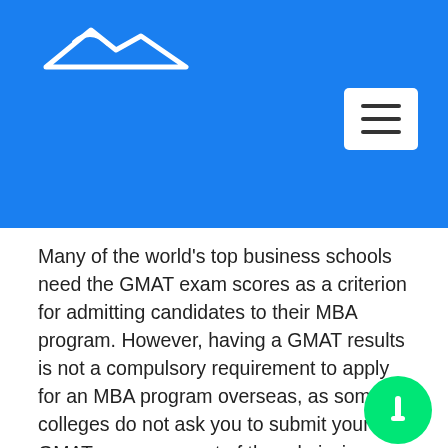[Figure (logo): Website logo with mountain/house silhouette in white on blue background]
[Figure (other): Hamburger menu button (three horizontal bars) in white rounded rectangle]
Many of the world’s top business schools need the GMAT exam scores as a criterion for admitting candidates to their MBA program. However, having a GMAT results is not a compulsory requirement to apply for an MBA program overseas, as some colleges do not ask you to submit your GMAT scores as part of the admissions process. You’ll need to conduct thorough study to establish which universities require GMAT scores and which do not. If the admissions committee does not need you to submit your GMAT results, they will use other significant criteria to determine whether you can get admitted to their university. Make sure you understand the requirements and also the criteria being
[Figure (other): Green circular chat/scroll-to-top button with white arrow/pause icon]